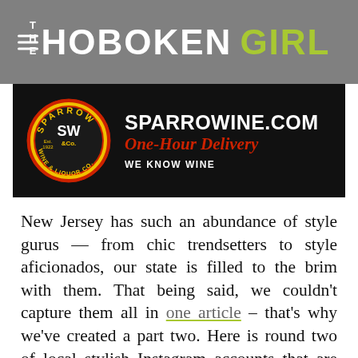THE HOBOKEN GIRL
[Figure (advertisement): Sparrow Wine & Liquor Co. ad banner — circular logo with 'SPARROWINE.COM' and 'One-Hour Delivery' text on black background, with tagline 'WE KNOW WINE']
New Jersey has such an abundance of style gurus — from chic trendsetters to style aficionados, our state is filled to the brim with them. That being said, we couldn't capture them all in one article – that's why we've created a part two. Here is round two of local stylish Instagram accounts that are sure to fill your feed with amazing fashion and style inspo. Read on for a